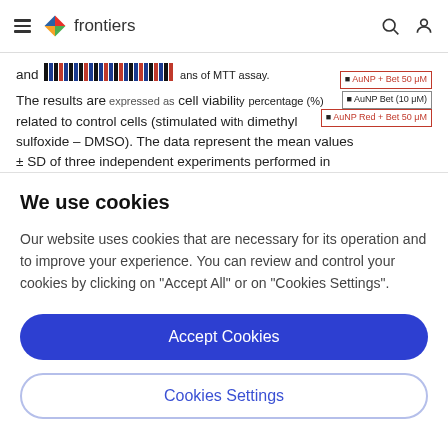frontiers (navigation bar with hamburger menu, search icon, user icon)
and (figure legend with color bars) means of MTT assay. The results are expressed as cell viability percentage (%) related to control cells (stimulated with dimethyl sulfoxide – DMSO). The data represent the mean values ± SD of three independent experiments performed in triplicate. One-way ANOVA analysis was applied to
We use cookies
Our website uses cookies that are necessary for its operation and to improve your experience. You can review and control your cookies by clicking on "Accept All" or on "Cookies Settings".
Accept Cookies
Cookies Settings